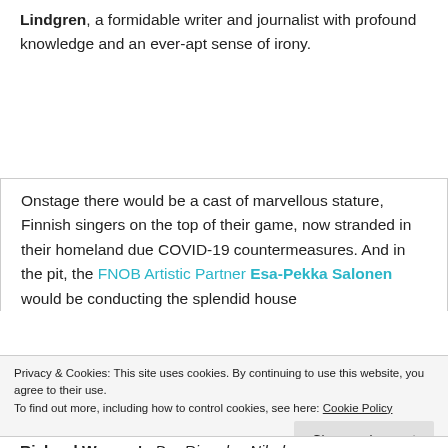Lindgren, a formidable writer and journalist with profound knowledge and an ever-apt sense of irony.
Onstage there would be a cast of marvellous stature, Finnish singers on the top of their game, now stranded in their homeland due COVID-19 countermeasures. And in the pit, the FNOB Artistic Partner Esa-Pekka Salonen would be conducting the splendid house
Privacy & Cookies: This site uses cookies. By continuing to use this website, you agree to their use.
To find out more, including how to control cookies, see here: Cookie Policy
Close and accept
Richard Wagner's Der Ring des Nibelungen